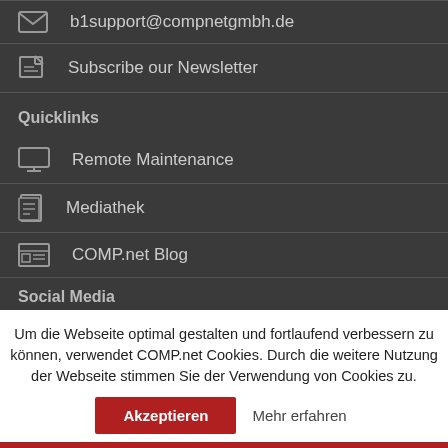b1support@compnetgmbh.de
Subscribe our Newsletter
Quicklinks
Remote Maintenance
Mediathek
COMP.net Blog
Social Media
Um die Webseite optimal gestalten und fortlaufend verbessern zu können, verwendet COMP.net Cookies. Durch die weitere Nutzung der Webseite stimmen Sie der Verwendung von Cookies zu.
Akzeptieren
Mehr erfahren